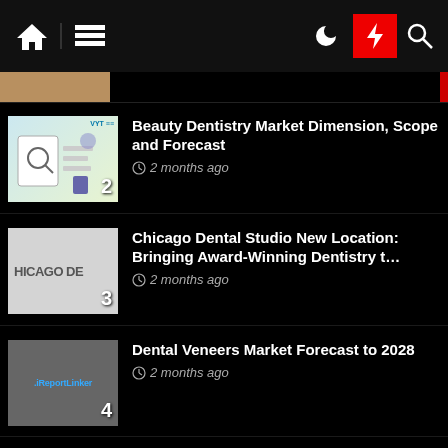[Figure (screenshot): Navigation bar with home icon, hamburger menu, dark mode moon icon, red lightning bolt icon, and search icon on black background]
Beauty Dentistry Market Dimension, Scope and Forecast — 2 months ago
Chicago Dental Studio New Location: Bringing Award-Winning Dentistry t… — 2 months ago
Dental Veneers Market Forecast to 2028 — 2 months ago
Beverly Hills Dentist Shares Tips on Choosing a Cosmetic Dentist — 2 months ago